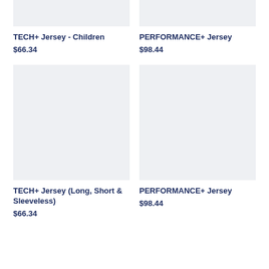[Figure (photo): Product image placeholder for TECH+ Jersey - Children (top, cropped)]
[Figure (photo): Product image placeholder for PERFORMANCE+ Jersey (top, cropped)]
TECH+ Jersey - Children
$66.34
PERFORMANCE+ Jersey
$98.44
[Figure (photo): Product image placeholder for TECH+ Jersey (Long, Short & Sleeveless)]
[Figure (photo): Product image placeholder for PERFORMANCE+ Jersey (second instance)]
TECH+ Jersey (Long, Short & Sleeveless)
$66.34
PERFORMANCE+ Jersey
$98.44